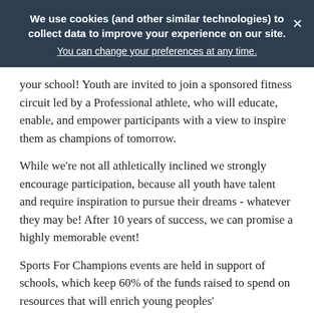We use cookies (and other similar technologies) to collect data to improve your experience on our site. You can change your preferences at any time.
your school! Youth are invited to join a sponsored fitness circuit led by a Professional athlete, who will educate, enable, and empower participants with a view to inspire them as champions of tomorrow.
While we're not all athletically inclined we strongly encourage participation, because all youth have talent and require inspiration to pursue their dreams - whatever they may be! After 10 years of success, we can promise a highly memorable event!
Sports For Champions events are held in support of schools, which keep 60% of the funds raised to spend on resources that will enrich young peoples' education/experience. Professional athletes in need of support are the only other beneficiaries from the remaining 40%. Sports For Champions is an audited